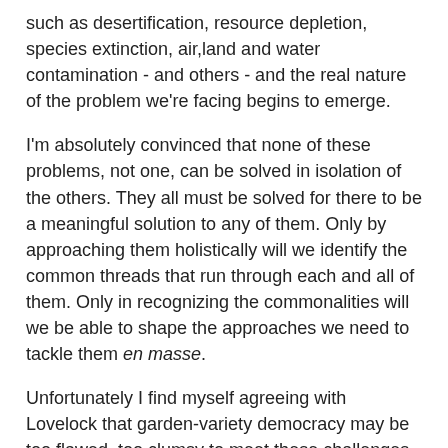such as desertification, resource depletion, species extinction, air,land and water contamination - and others - and the real nature of the problem we're facing begins to emerge.
I'm absolutely convinced that none of these problems, not one, can be solved in isolation of the others. They all must be solved for there to be a meaningful solution to any of them. Only by approaching them holistically will we identify the common threads that run through each and all of them. Only in recognizing the commonalities will we be able to shape the approaches we need to tackle them en masse.
Unfortunately I find myself agreeing with Lovelock that garden-variety democracy may be too flawed, too clumsy to meet these challenges or to prevent them from spreading beyond our control. The fact is we have no solutions to any of them, not even one.
Realize this. You are today standing on the cusp of what will become a world of rapidly accelerating change. Our ability to control that change is slipping through our fingers. It won't